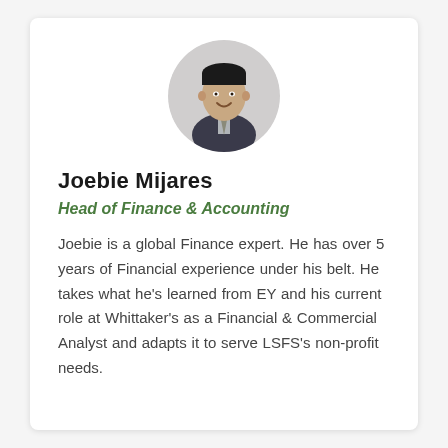[Figure (photo): Circular headshot photo of Joebie Mijares, a young man in a suit and tie, smiling]
Joebie Mijares
Head of Finance & Accounting
Joebie is a global Finance expert. He has over 5 years of Financial experience under his belt. He takes what he’s learned from EY and his current role at Whittaker’s as a Financial & Commercial Analyst and adapts it to serve LSFS’s non-profit needs.